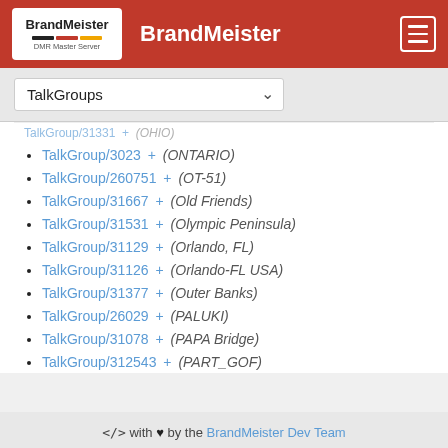BrandMeister
TalkGroups (dropdown)
TalkGroup/3023 + (ONTARIO)
TalkGroup/260751 + (OT-51)
TalkGroup/31667 + (Old Friends)
TalkGroup/31531 + (Olympic Peninsula)
TalkGroup/31129 + (Orlando, FL)
TalkGroup/31126 + (Orlando-FL USA)
TalkGroup/31377 + (Outer Banks)
TalkGroup/26029 + (PALUKI)
TalkGroup/31078 + (PAPA Bridge)
TalkGroup/312543 + (PART_GOF)
</> with ♥ by the BrandMeister Dev Team